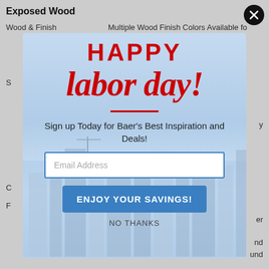Exposed Wood
Wood & Finish
Multiple Wood Finish Colors Available for
[Figure (screenshot): Happy Labor Day promotional modal popup overlay on a furniture website. Modal shows 'HAPPY' in bold red uppercase letters, 'labor day!' in large red italic script, a red horizontal divider, 'Sign up Today for Baer's Best Inspiration and Deals!' text, an Email Address input field, a blue 'ENJOY YOUR SAVINGS!' button, and a 'NO THANKS' link. Background shows a city skyline. A black circular close button (X) is in the top right corner.]
HAPPY
labor day!
Sign up Today for Baer's Best Inspiration and Deals!
Email Address
ENJOY YOUR SAVINGS!
NO THANKS